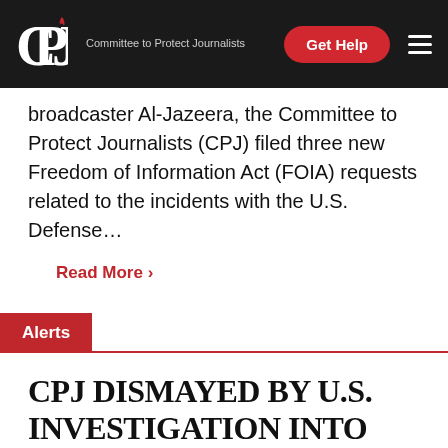CPJ — Committee to Protect Journalists | Get Help
broadcaster Al-Jazeera, the Committee to Protect Journalists (CPJ) filed three new Freedom of Information Act (FOIA) requests related to the incidents with the U.S. Defense…
Read More ›
Alerts
CPJ DISMAYED BY U.S. INVESTIGATION INTO